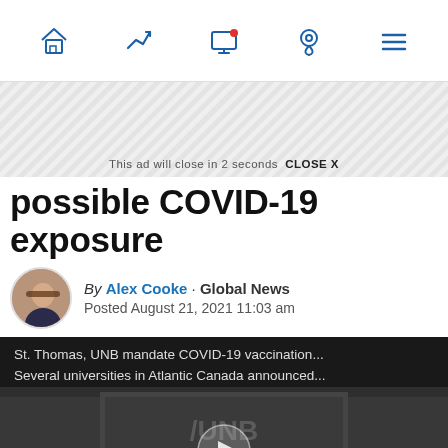[Figure (screenshot): Navigation bar with icons: home, trending arrow, screen with notification dot, location pin, hamburger menu]
[Figure (screenshot): Ad banner with diagonal stripe pattern and close text reading 'This ad will close in 2 seconds CLOSE X']
possible COVID-19 exposure
By Alex Cooke · Global News
Posted August 21, 2021 11:03 am
[Figure (screenshot): Video thumbnail showing UNB Saint John sign in dark overlay with text: 'St. Thomas, UNB mandate COVID-19 vaccination... Several universities in Atlantic Canada announced...' and a play button in center. Bottom shows red-tinted bulletin board text.]